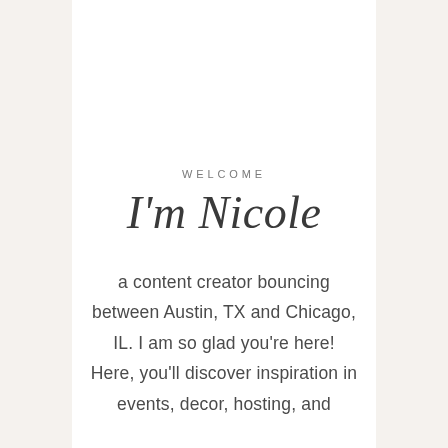WELCOME
I'm Nicole
a content creator bouncing between Austin, TX and Chicago, IL. I am so glad you're here! Here, you'll discover inspiration in events, decor, hosting, and